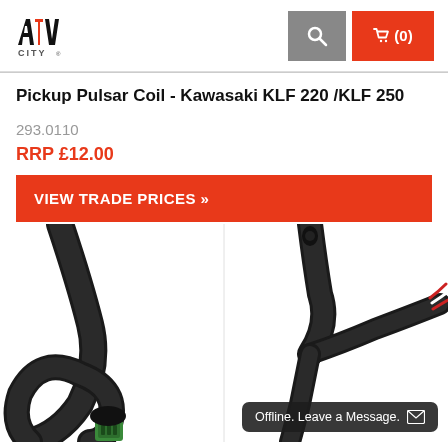[Figure (logo): ATV City logo - stylized red and black ATV letters with CITY text below]
(0)
Pickup Pulsar Coil - Kawasaki KLF 220 /KLF 250
293.0110
RRP £12.00
VIEW TRADE PRICES »
[Figure (photo): Close-up photo of a Pickup Pulsar Coil - black wiring harness with green connector on the left side, and cable with exposed wires on the right side. White background.]
Offline. Leave a Message.